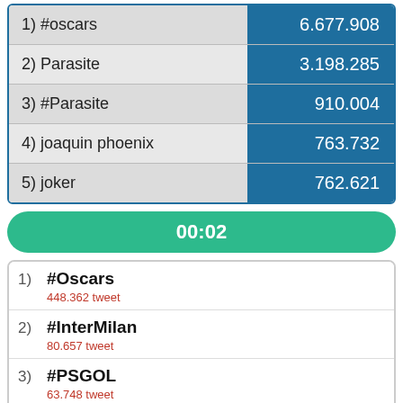| Rank | Value |
| --- | --- |
| 1) #oscars | 6.677.908 |
| 2) Parasite | 3.198.285 |
| 3) #Parasite | 910.004 |
| 4) joaquin phoenix | 763.732 |
| 5) joker | 762.621 |
00:02
#Oscars — 448.362 tweet
#InterMilan — 80.657 tweet
#PSGOL — 63.748 tweet
#AnneWill — 23.374 tweet